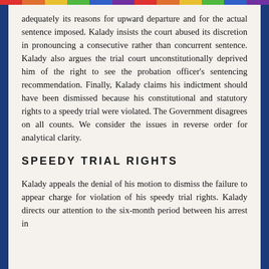adequately its reasons for upward departure and for the actual sentence imposed. Kalady insists the court abused its discretion in pronouncing a consecutive rather than concurrent sentence. Kalady also argues the trial court unconstitutionally deprived him of the right to see the probation officer's sentencing recommendation. Finally, Kalady claims his indictment should have been dismissed because his constitutional and statutory rights to a speedy trial were violated. The Government disagrees on all counts. We consider the issues in reverse order for analytical clarity.
SPEEDY TRIAL RIGHTS
Kalady appeals the denial of his motion to dismiss the failure to appear charge for violation of his speedy trial rights. Kalady directs our attention to the six-month period between his arrest in